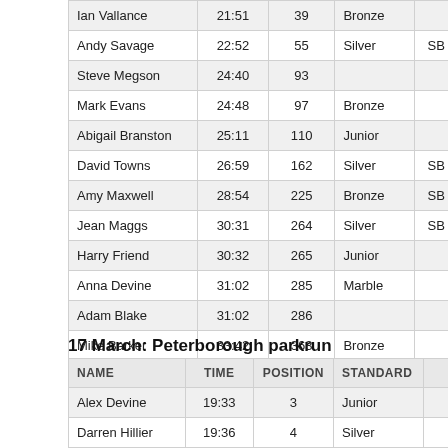| NAME | TIME | POSITION | STANDARD |  |
| --- | --- | --- | --- | --- |
| Ian Vallance | 21:51 | 39 | Bronze |  |
| Andy Savage | 22:52 | 55 | Silver | SB |
| Steve Megson | 24:40 | 93 |  |  |
| Mark Evans | 24:48 | 97 | Bronze |  |
| Abigail Branston | 25:11 | 110 | Junior |  |
| David Towns | 26:59 | 162 | Silver | SB |
| Amy Maxwell | 28:54 | 225 | Bronze | SB |
| Jean Maggs | 30:31 | 264 | Silver | SB |
| Harry Friend | 30:32 | 265 | Junior |  |
| Anna Devine | 31:02 | 285 | Marble |  |
| Adam Blake | 31:02 | 286 |  |  |
| Mike Barker | 33:42 | 363 | Bronze |  |
17 March: Peterborough parkrun
| NAME | TIME | POSITION | STANDARD |  |
| --- | --- | --- | --- | --- |
| Alex Devine | 19:33 | 3 | Junior |  |
| Darren Hillier | 19:36 | 4 | Silver |  |